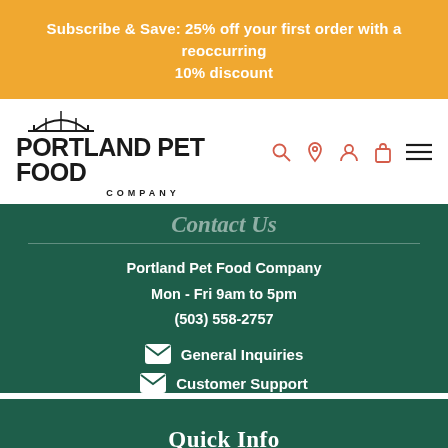Subscribe & Save: 25% off your first order with a reoccurring 10% discount
[Figure (logo): Portland Pet Food Company logo with bridge icon above bold text PORTLAND PET FOOD and subtext COMPANY]
Contact Us
Portland Pet Food Company
Mon - Fri 9am to 5pm
(503) 558-2757
General Inquiries
Customer Support
Quick Info